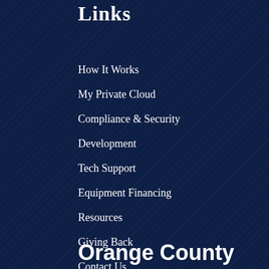Links
How It Works
My Private Cloud
Compliance & Security
Development
Tech Support
Equipment Financing
Resources
Giving Back
Contact Us
Orange County